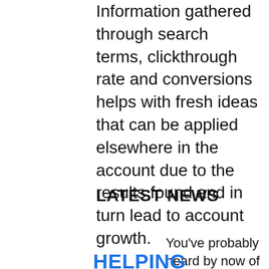Information gathered through search terms, clickthrough rate and conversions helps with fresh ideas that can be applied elsewhere in the account due to the results found and in turn lead to account growth.
LATEST NEWS
You've probably heard by now of all the new
HELPING